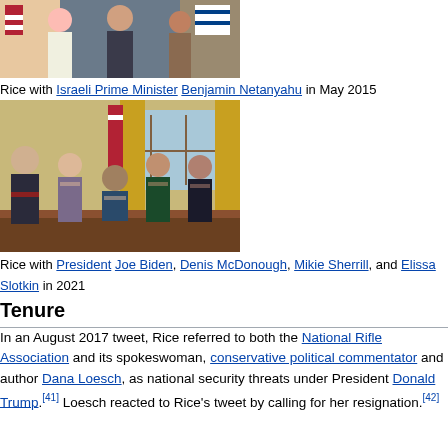[Figure (photo): Photo of Rice with Israeli Prime Minister Benjamin Netanyahu]
Rice with Israeli Prime Minister Benjamin Netanyahu in May 2015
[Figure (photo): Photo of Rice with President Joe Biden, Denis McDonough, Mikie Sherrill, and Elissa Slotkin in 2021]
Rice with President Joe Biden, Denis McDonough, Mikie Sherrill, and Elissa Slotkin in 2021
Tenure
In an August 2017 tweet, Rice referred to both the National Rifle Association and its spokeswoman, conservative political commentator and author Dana Loesch, as national security threats under President Donald Trump.[41] Loesch reacted to Rice's tweet by calling for her resignation.[42]